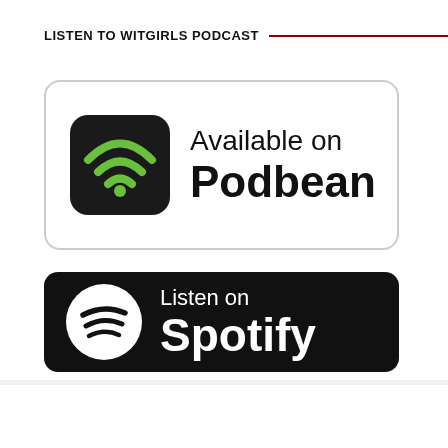LISTEN TO WITGIRLS PODCAST
[Figure (logo): Available on Podbean badge - white rounded rectangle with Podbean wifi-style icon (black rounded square with green wifi arcs and dot) on left, text 'Available on Podbean' on right]
[Figure (logo): Listen on Spotify badge - black rounded rectangle with white Spotify circle logo on left, white text 'Listen on Spotify' on right]
WITGIRLS PODCAST EPISODES